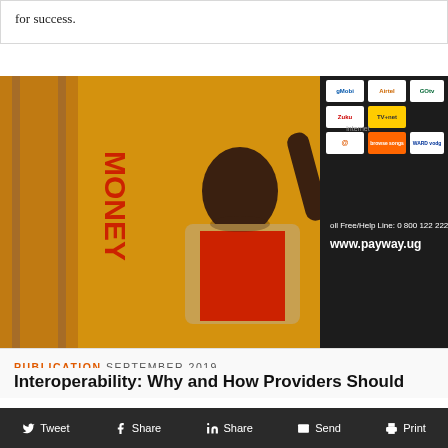for success.
[Figure (photo): A smiling woman with her arm raised in a yellow-walled room with a 'MONEY' sign and a Payway Uganda bulletin board displaying various mobile network logos and text 'Toll Free/Help Line: 0 800 122 222' and 'www.payway.ug']
PUBLICATION SEPTEMBER 2019
Interoperability: Why and How Providers Should
Tweet   Share   Share   Send   Print